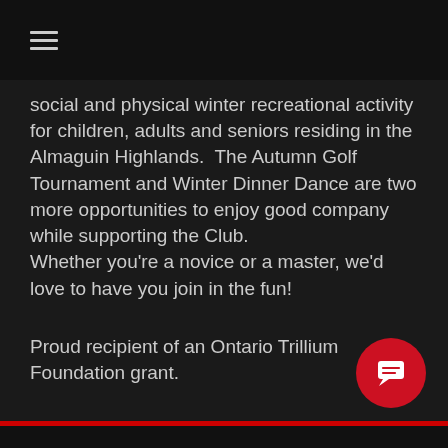☰
social and physical winter recreational activity for children, adults and seniors residing in the Almaguin Highlands.  The Autumn Golf Tournament and Winter Dinner Dance are two more opportunities to enjoy good company while supporting the Club.
Whether you're a novice or a master, we'd love to have you join in the fun!
Proud recipient of an Ontario Trillium Foundation grant.